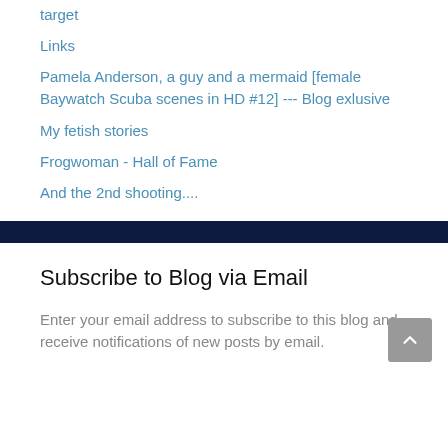target
Links
Pamela Anderson, a guy and a mermaid [female Baywatch Scuba scenes in HD #12] --- Blog exlusive
My fetish stories
Frogwoman - Hall of Fame
And the 2nd shooting....
Subscribe to Blog via Email
Enter your email address to subscribe to this blog and receive notifications of new posts by email.